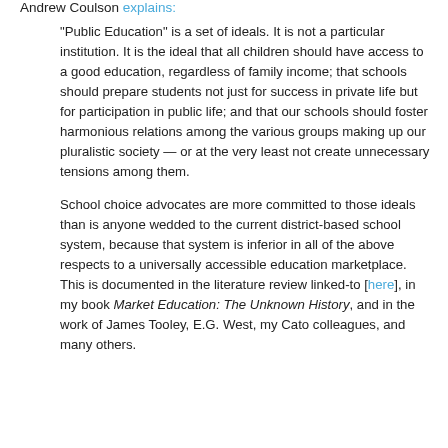Andrew Coulson explains:
"Public Education" is a set of ideals. It is not a particular institution. It is the ideal that all children should have access to a good education, regardless of family income; that schools should prepare students not just for success in private life but for participation in public life; and that our schools should foster harmonious relations among the various groups making up our pluralistic society — or at the very least not create unnecessary tensions among them.
School choice advocates are more committed to those ideals than is anyone wedded to the current district-based school system, because that system is inferior in all of the above respects to a universally accessible education marketplace. This is documented in the literature review linked-to [here], in my book Market Education: The Unknown History, and in the work of James Tooley, E.G. West, my Cato colleagues, and many others.